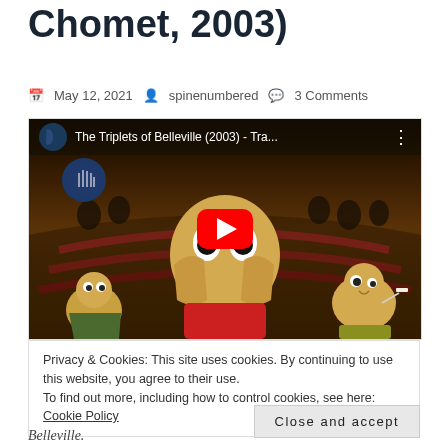Chomet, 2003)
May 12, 2021  spinenumbered  3 Comments
[Figure (screenshot): YouTube video embed showing The Triplets of Belleville (2003) trailer thumbnail with animated characters from the film and a red YouTube play button overlay. Top bar shows video title: The Triplets of Belleville (2003) - Tra...]
Privacy & Cookies: This site uses cookies. By continuing to use this website, you agree to their use.
To find out more, including how to control cookies, see here: Cookie Policy
Close and accept
Belleville.